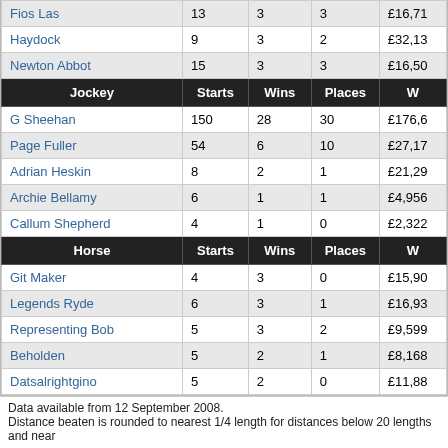| Jockey | Starts | Wins | Places | W... |
| --- | --- | --- | --- | --- |
| Fios Las | 13 | 3 | 3 | £16,71... |
| Haydock | 9 | 3 | 2 | £32,13... |
| Newton Abbot | 15 | 3 | 3 | £16,50... |
| G Sheehan | 150 | 28 | 30 | £176,6... |
| Page Fuller | 54 | 6 | 10 | £27,17... |
| Adrian Heskin | 8 | 2 | 1 | £21,29... |
| Archie Bellamy | 6 | 1 | 1 | £4,956... |
| Callum Shepherd | 4 | 1 | 0 | £2,322... |
| Git Maker | 4 | 3 | 0 | £15,90... |
| Legends Ryde | 6 | 3 | 1 | £16,93... |
| Representing Bob | 5 | 3 | 2 | £9,599... |
| Beholden | 5 | 2 | 1 | £8,168... |
| Datsalrightgino | 5 | 2 | 0 | £11,88... |
Data available from 12 September 2008.
Distance beaten is rounded to nearest 1/4 length for distances below 20 lengths and near...
The Best Odds registration service is not available to US residents. AT THE RACES is partners.
Images on attheraces.com are supplied by Getty Images, PA Sport and Bill Selwyn.